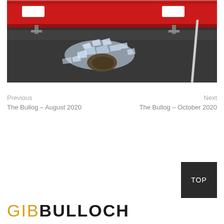[Figure (photo): Close-up photo of a red vehicle undercarriage/bumper area with broken glass or ice scattered on dark wet asphalt, with a metal rod or pole visible on the right side]
Previous
The Bullog – August 2020
Next
The Bullog – October 2020
[Figure (logo): GIBBULLOCH logo with GIB in gold/orange and BULLOCH in dark/black bold text]
TOP